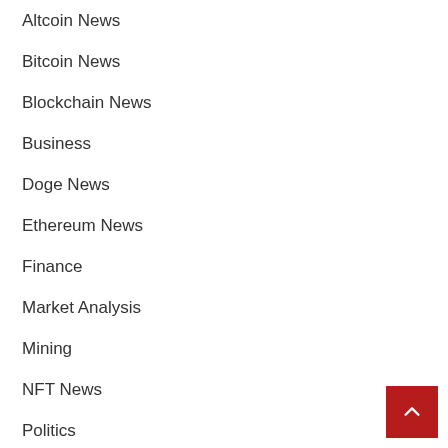Altcoin News
Bitcoin News
Blockchain News
Business
Doge News
Ethereum News
Finance
Market Analysis
Mining
NFT News
Politics
Regulation
Technology